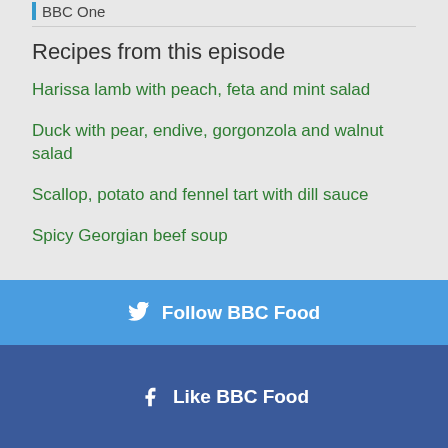BBC One
Recipes from this episode
Harissa lamb with peach, feta and mint salad
Duck with pear, endive, gorgonzola and walnut salad
Scallop, potato and fennel tart with dill sauce
Spicy Georgian beef soup
Follow BBC Food
Like BBC Food